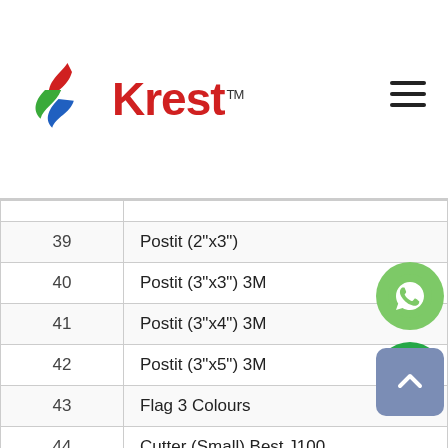[Figure (logo): Krest company logo with red text and colorful wave/leaf icon]
| # | Product |
| --- | --- |
| 39 | Postit (2"x3") |
| 40 | Postit (3"x3") 3M |
| 41 | Postit (3"x4") 3M |
| 42 | Postit (3"x5") 3M |
| 43 | Flag 3 Colours |
| 44 | Cutter (Small) Best J100 |
| 45 | Cutter (Medium) Best J200 |
| 46 | Cutter (Big) Best |
| 47 | Scissor (Small) 7 number |
| 48 | Scissor (Small) 6 number |